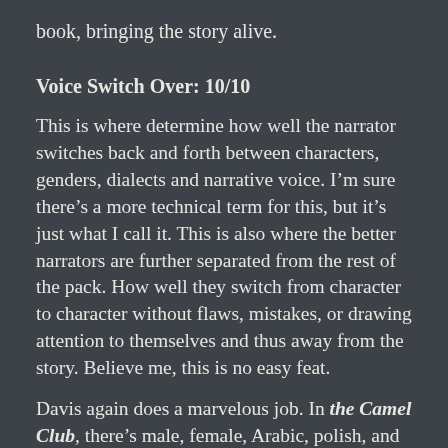book, bringing the story alive.
Voice Switch Over: 10/10
This is where determine how well the narrator switches back and forth between characters, genders, dialects and narrative voice. I’m sure there’s a more technical term for this, but it’s just what I call it. This is also where the better narrators are further separated from the rest of the pack. How well they switch from character to character without flaws, mistakes, or drawing attention to themselves and thus away from the story. Believe me, this is no easy feat.
Davis again does a marvelous job. In the Camel Club, there’s male, female, Arabic, polish, and a